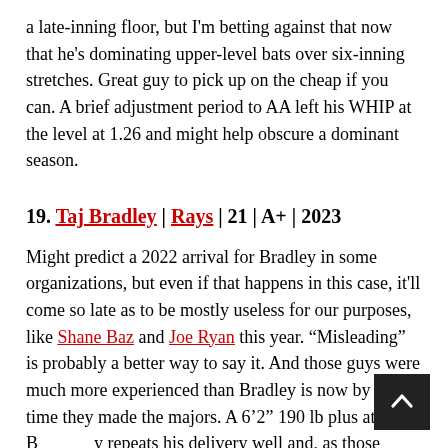a late-inning floor, but I'm betting against that now that he's dominating upper-level bats over six-inning stretches. Great guy to pick up on the cheap if you can. A brief adjustment period to AA left his WHIP at the level at 1.26 and might help obscure a dominant season.
19. Taj Bradley | Rays | 21 | A+ | 2023
Might predict a 2022 arrival for Bradley in some organizations, but even if that happens in this case, it'll come so late as to be mostly useless for our purposes, like Shane Baz and Joe Ryan this year. "Misleading" is probably a better way to say it. And those guys were much more experienced than Bradley is now by the time they made the majors. A 6'2" 190 lb plus athlete, Bradley repeats his delivery well and, as those types tend to, commands his pitches well and even improved in that area throughout the year. He'll probably make Grey's